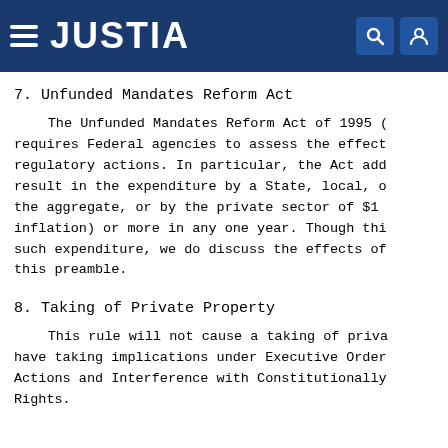JUSTIA
7. Unfunded Mandates Reform Act
The Unfunded Mandates Reform Act of 1995 (UMRA) requires Federal agencies to assess the effects of their regulatory actions. In particular, the Act addresses actions that result in the expenditure by a State, local, or tribal government in the aggregate, or by the private sector of $100 million (adjusted for inflation) or more in any one year. Though this rule will not cause such expenditure, we do discuss the effects of this rule throughout this preamble.
8. Taking of Private Property
This rule will not cause a taking of private property or have taking implications under Executive Order 12630, Governmental Actions and Interference with Constitutionally Protected Property Rights.